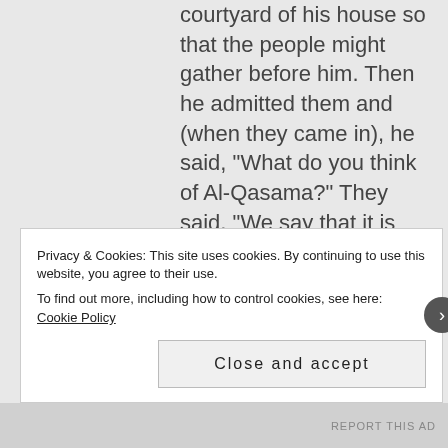courtyard of his house so that the people might gather before him. Then he admitted them and (when they came in), he said, “What do you think of Al-Qasama?” They said, “We say that it is lawful to depend on Al-Qasama in Qisas, as the previous Muslim Caliphs carried out Qisas depending on it.” Then he said to me, “O Abu Qilaba! What do you say about it?” He let me appear before the people and I said, “O Chief of the Believers! You have the chiefs of the army staff and the nobles of the Arabs
Privacy & Cookies: This site uses cookies. By continuing to use this website, you agree to their use.
To find out more, including how to control cookies, see here: Cookie Policy
Close and accept
REPORT THIS AD